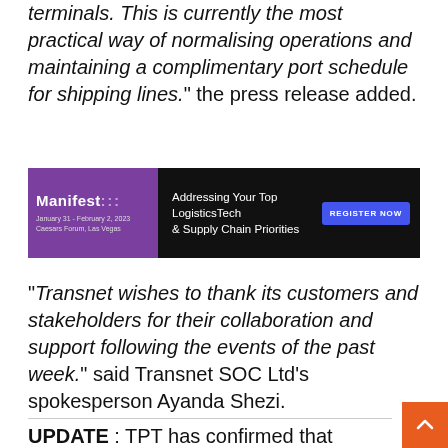terminals. This is currently the most practical way of normalising operations and maintaining a complimentary port schedule for shipping lines." the press release added.
[Figure (infographic): Manifest event advertisement banner. Purple left section with 'Manifest :::' title and 'January 31 - February 2, 2023, Caesars Forum, Las Vegas'. Dark right section with text 'Addressing Your Top LogisticsTech & Supply Chain Priorities' and blue 'REGISTER NOW' button.]
"Transnet wishes to thank its customers and stakeholders for their collaboration and support following the events of the past week." said Transnet SOC Ltd's spokesperson Ayanda Shezi.
UPDATE : TPT has confirmed that Navis